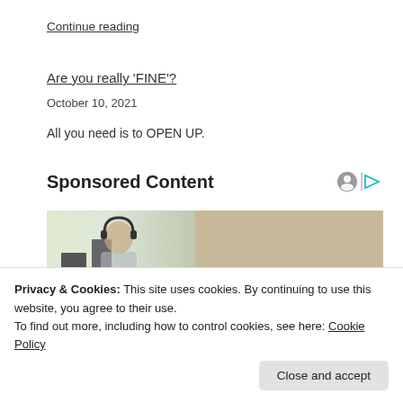Continue reading
Are you really ‘FINE’?
October 10, 2021
All you need is to OPEN UP.
Sponsored Content
[Figure (photo): Two call center employees wearing headsets seated at computers in an office environment.]
Privacy & Cookies: This site uses cookies. By continuing to use this website, you agree to their use.
To find out more, including how to control cookies, see here: Cookie Policy
Close and accept